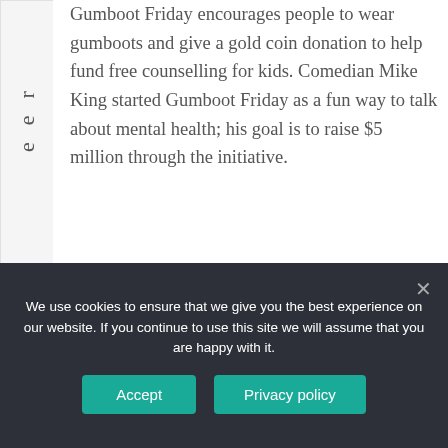e
e
r
T
h
e
D
ig
it
al
Gumboot Friday encourages people to wear gumboots and give a gold coin donation to help fund free counselling for kids. Comedian Mike King started Gumboot Friday as a fun way to talk about mental health; his goal is to raise $5 million through the initiative.
What is
We use cookies to ensure that we give you the best experience on our website. If you continue to use this site we will assume that you are happy with it.
Accept
Privacy policy